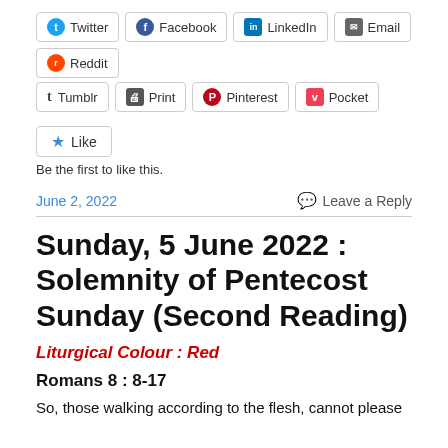Twitter
Facebook
LinkedIn
Email
Reddit
Tumblr
Print
Pinterest
Pocket
Be the first to like this.
June 2, 2022
Leave a Reply
Sunday, 5 June 2022 : Solemnity of Pentecost Sunday (Second Reading)
Liturgical Colour : Red
Romans 8 : 8-17
So, those walking according to the flesh, cannot please